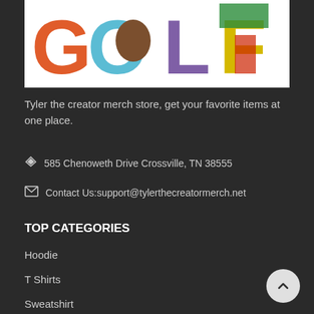[Figure (logo): GOLF Wang colorful logo with stylized multicolor letters spelling GOLF on white background]
Tyler the creator merch store, get your favorite items at one place.
585 Chenoweth Drive Crossville, TN 38555
Contact Us:support@tylerthecreatormerch.net
TOP CATEGORIES
Hoodie
T Shirts
Sweatshirt
Golf Wang Shirt
Golf Wang Jacket